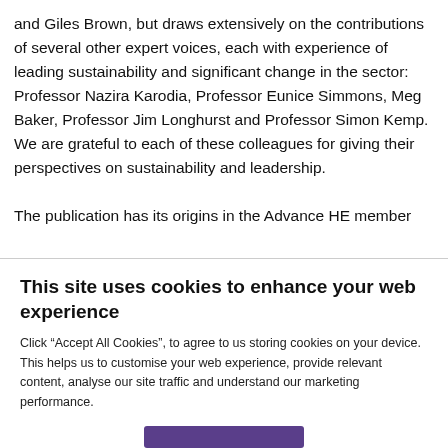and Giles Brown, but draws extensively on the contributions of several other expert voices, each with experience of leading sustainability and significant change in the sector: Professor Nazira Karodia, Professor Eunice Simmons, Meg Baker, Professor Jim Longhurst and Professor Simon Kemp. We are grateful to each of these colleagues for giving their perspectives on sustainability and leadership.

The publication has its origins in the Advance HE member
This site uses cookies to enhance your web experience
Click “Accept All Cookies”, to agree to us storing cookies on your device. This helps us to customise your web experience, provide relevant content, analyse our site traffic and understand our marketing performance.